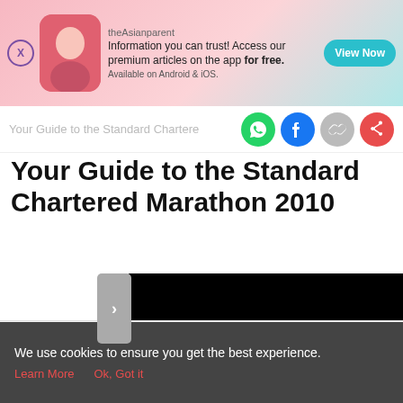[Figure (screenshot): theAsianparent app advertisement banner with pink/teal gradient background, app icon, text and View Now button]
Your Guide to the Standard Chartered
Your Guide to the Standard Chartered Marathon 2010
[Figure (screenshot): Black video/media area with a grey navigation arrow button on the left side]
[Figure (screenshot): Bottom navigation bar with Tools, Articles, center pregnant woman icon, Feed, and Poll icons]
We use cookies to ensure you get the best experience. Learn More  Ok, Got it